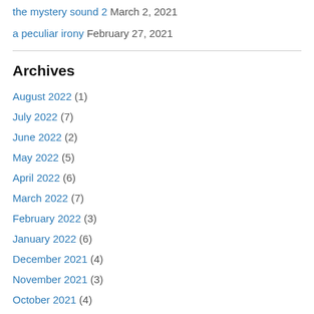the mystery sound 2 March 2, 2021
a peculiar irony February 27, 2021
Archives
August 2022 (1)
July 2022 (7)
June 2022 (2)
May 2022 (5)
April 2022 (6)
March 2022 (7)
February 2022 (3)
January 2022 (6)
December 2021 (4)
November 2021 (3)
October 2021 (4)
September 2021 (3)
August 2021 (4)
July 2021 (2)